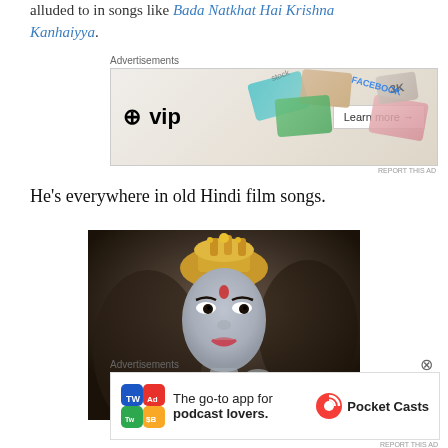alluded to in songs like Bada Natkhat Hai Krishna Kanhaiyya.
[Figure (other): WordPress VIP advertisement banner with card logos (Facebook, stock photos) and 'Learn more' button]
He's everywhere in old Hindi film songs.
[Figure (photo): A person dressed as Lord Krishna in costume with golden crown, blue/white painted face, playing a flute, from an old Hindi film]
[Figure (other): Pocket Casts advertisement: 'The go-to app for podcast lovers.' with Pocket Casts logo]